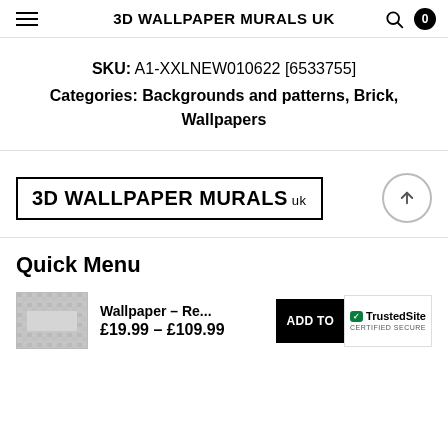3D WALLPAPER MURALS UK
SKU: A1-XXLNEW010622 [6533755]
Categories: Backgrounds and patterns, Brick, Wallpapers
[Figure (logo): 3D WALLPAPER MURALS uk logo in a rectangular border box, with a back-to-top arrow circle on the right]
Quick Menu
Wallpaper - Re...
£19.99 – £109.99